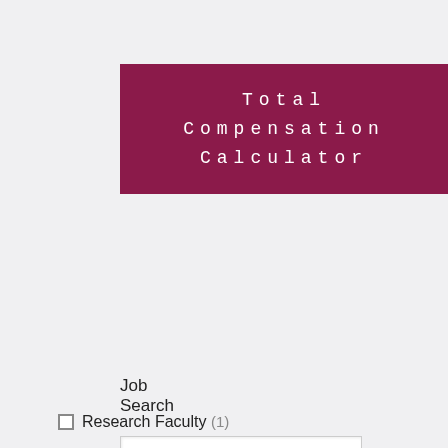Total Compensation Calculator
Job Search
Filter Results
Work type
Research Faculty (1)